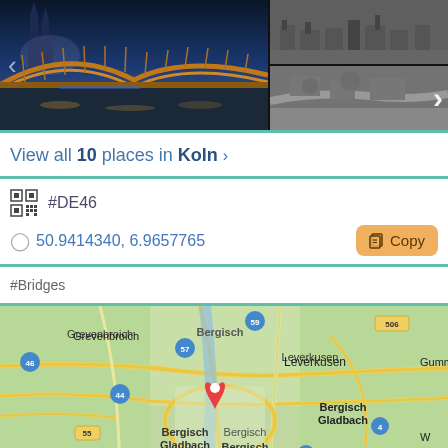[Figure (photo): Photo carousel showing Cologne Hohenzollern Bridge and Cathedral at night (main large photo) with two smaller black and white historical photos of Cologne. Navigation arrows visible.]
View all 10 places in Koln ›
#DE46
50.9414340, 6.9657765
Copy
#Bridges
[Figure (map): Google Maps view centered on Cologne (Köln), Germany showing surrounding areas including Leverkusen, Grevenbroich, Bergheim, Bergisch Gladbach, Jülich with road numbers 46, 44, 57, 59, 506, 55, 477, 4 and a red location pin on Cologne.]